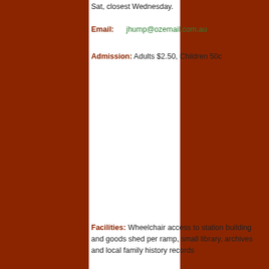Sat, closest Wednesday.
Email: jhump@ozemail.com.au
Admission: Adults $2.50, Children 50c
Facilities: Wheelchair access to station building and goods shed per ramp, small library, archives and local family history records